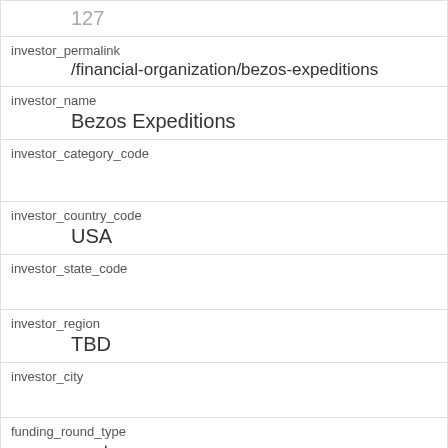| 127 |
| investor_permalink | /financial-organization/bezos-expeditions |
| investor_name | Bezos Expeditions |
| investor_category_code |  |
| investor_country_code | USA |
| investor_state_code |  |
| investor_region | TBD |
| investor_city |  |
| funding_round_type | venture |
| funded_at | 1167609600 |
| funded_year |  |